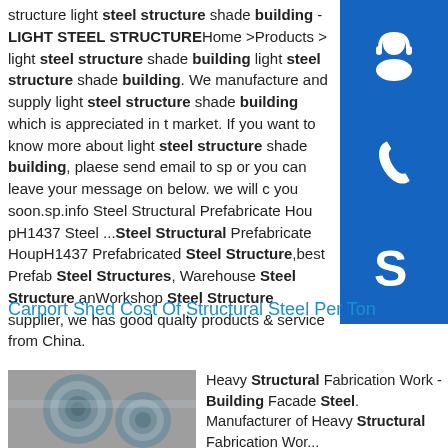structure light steel structure shade building. LIGHT STEEL STRUCTUREHome >Products > light steel structure shade building light steel structure shade building. We manufacture and supply light steel structure shade building which is appreciated in the market. If you want to know more about light steel structure shade building, plaese send email to sp... or you can leave your message on below. we will contact you soon.sp.info Steel Structural Prefabricate House KYD pH1437 Steel ...Steel Structural Prefabricate House KYD pH1437 Prefabricated Steel Structure,best Prefab Steel Structures, Warehouse Steel Structure and Workshop Steel Structure supplier, we has good quality products & service from China.
[Figure (other): Blue square icon with white headphone/customer service symbol]
[Figure (other): Blue square icon with white telephone/call symbol]
[Figure (other): Blue square icon with white Skype logo symbol]
Carport Shed Cost Of Structural Steel Per Ton
[Figure (photo): Photo of large rolled steel coils/sheets stacked together]
Heavy Structural Fabrication Work - Building Facade Steel. Manufacturer of Heavy Structural Fabrication Work...